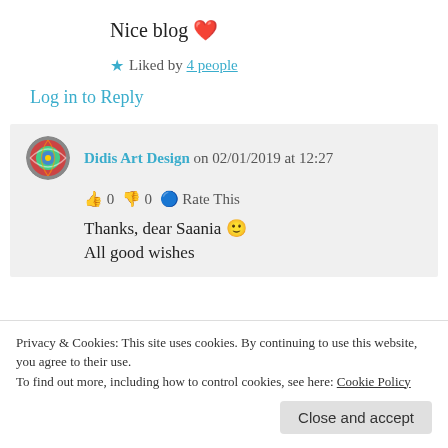Nice blog ❤️
★ Liked by 4 people
Log in to Reply
Didis Art Design on 02/01/2019 at 12:27
👍 0 👎 0 ℹ️ Rate This
Thanks, dear Saania 🙂
All good wishes
Privacy & Cookies: This site uses cookies. By continuing to use this website, you agree to their use.
To find out more, including how to control cookies, see here: Cookie Policy